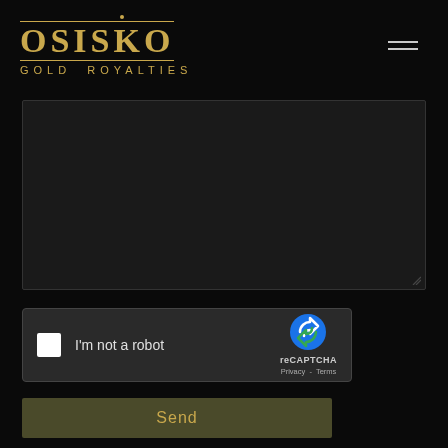[Figure (logo): Osisko Gold Royalties logo with gold text on black background, dot above, horizontal lines framing OSISKO text, subtitle GOLD ROYALTIES]
[Figure (screenshot): Dark empty textarea/text input box for message composition]
[Figure (screenshot): reCAPTCHA widget with checkbox, 'I'm not a robot' label, reCAPTCHA icon, Privacy and Terms links]
Send